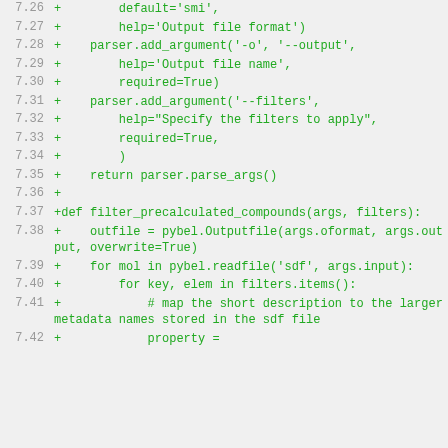Code diff showing lines 7.26–7.42 of a Python script involving argument parsing and filter_precalculated_compounds function definition.